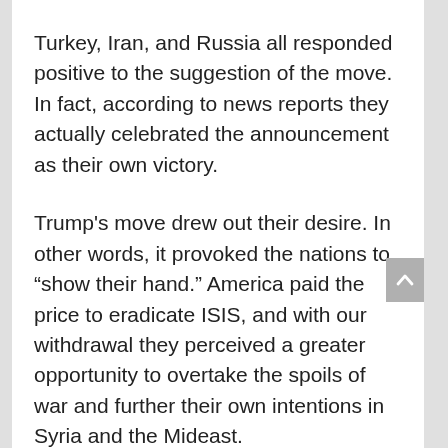Turkey, Iran, and Russia all responded positive to the suggestion of the move. In fact, according to news reports they actually celebrated the announcement as their own victory.
Trump's move drew out their desire. In other words, it provoked the nations to “show their hand.” America paid the price to eradicate ISIS, and with our withdrawal they perceived a greater opportunity to overtake the spoils of war and further their own intentions in Syria and the Mideast.